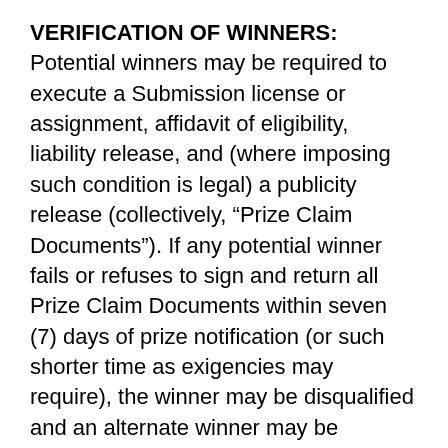VERIFICATION OF WINNERS: Potential winners may be required to execute a Submission license or assignment, affidavit of eligibility, liability release, and (where imposing such condition is legal) a publicity release (collectively, “Prize Claim Documents”). If any potential winner fails or refuses to sign and return all Prize Claim Documents within seven (7) days of prize notification (or such shorter time as exigencies may require), the winner may be disqualified and an alternate winner may be selected.
CONTEST ENTITIES SHALL NOT BE RESPONSIBLE OR LIABLE FOR ENTRIES THAT ARE ENTERED BY OTHER THAN HUMAN MEANS (SUCH AS BY AN AUTOMATED COMPUTER PROGRAM OR ANY NON-HUMAN MECHANISM, ENTITY, OR DEVICE), IN EXCESS OF THE STATED LIMIT, OR FOR ENTRIES THAT ARE LATE